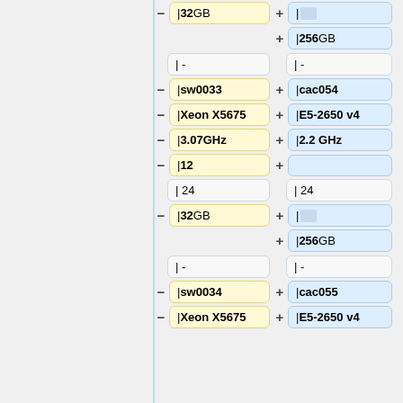[Figure (other): Diff view showing two columns of configuration fields with yellow (removed) and blue (added) highlighted rows. Fields include memory (32 GB / 256 GB), hostname (sw0033/cac054, sw0034/cac055), CPU model (Xeon X5675 / E5-2650 v4), clock speed (3.07GHz / 2.2 GHz), core count (12 / blank), thread count (24 / 24), memory again (32 GB / 256 GB), disk (|- / |-), and more hostnames/CPUs.]